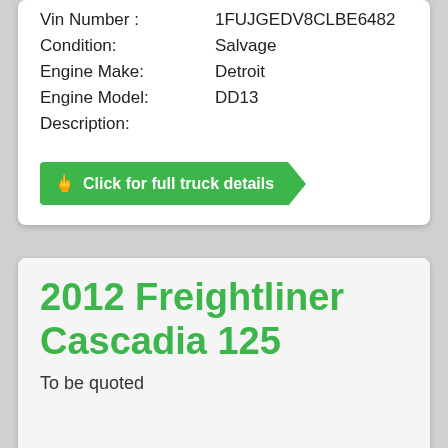Vin Number : 1FUJGEDV8CLBE6482
Condition: Salvage
Engine Make: Detroit
Engine Model: DD13
Description:
Click for full truck details
2012 Freightliner Cascadia 125
To be quoted